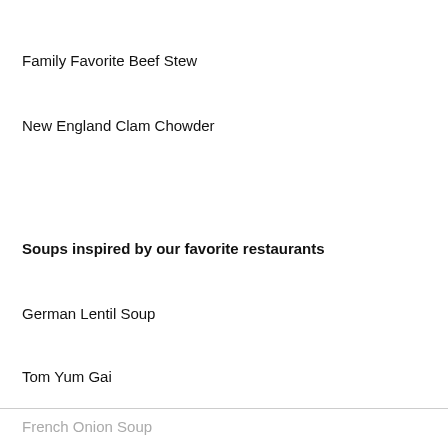Family Favorite Beef Stew
New England Clam Chowder
Soups inspired by our favorite restaurants
German Lentil Soup
Tom Yum Gai
French Onion Soup